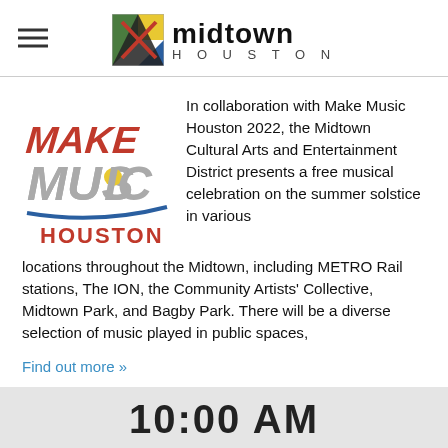midtown HOUSTON
[Figure (logo): Make Music Houston logo with stylized text in red and blue with yellow dot]
In collaboration with Make Music Houston 2022, the Midtown Cultural Arts and Entertainment District presents a free musical celebration on the summer solstice in various locations throughout the Midtown, including METRO Rail stations, The ION, the Community Artists' Collective, Midtown Park, and Bagby Park. There will be a diverse selection of music played in public spaces,
Find out more »
10:00 AM